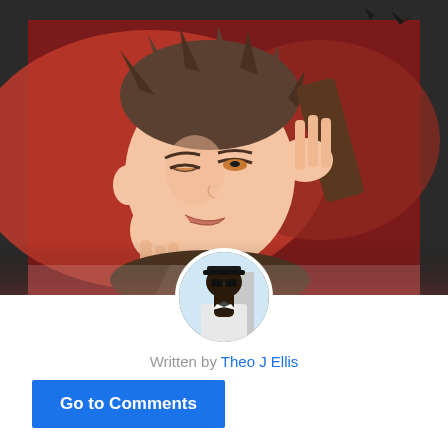[Figure (illustration): Manga-style illustration of Subaru Natsuki character with brown spiky hair, amber eyes, smirking expression, holding what appears to be a dark object. Red and dark background. A circular avatar photo of a real person (a man wearing sunglasses and a hat) overlaid at the bottom center of the illustration.]
Written by Theo J Ellis
Go to Comments
Subaru Natsuki is a character who’s hated more than I understand sometimes. I don’t get it...